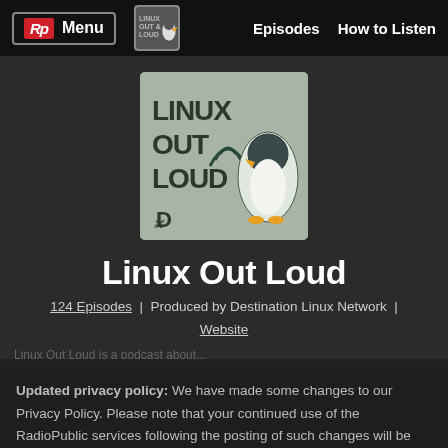Rp Menu | Linux Out Loud logo | Episodes | How to Listen
[Figure (illustration): Linux Out Loud podcast cover art: gray square background with a cartoon penguin (Tux) and wifi/broadcast waves, text reads LINUX OUT LOUD with a D logo at the bottom]
Linux Out Loud
124 Episodes | Produced by Destination Linux Network | Website
Updated privacy policy: We have made some changes to our Privacy Policy. Please note that your continued use of the RadioPublic services following the posting of such changes will be deemed an acceptance of this update. Learn more.